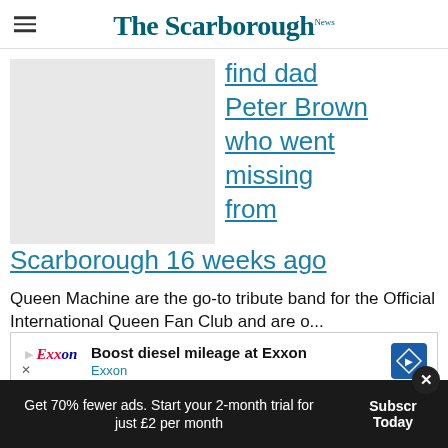The Scarborough News
[Figure (photo): Placeholder image (grey rectangle) for article about finding dad Peter Brown who went missing from Scarborough 16 weeks ago]
find dad Peter Brown who went missing from Scarborough 16 weeks ago
Queen Machine are the go-to tribute band for the Official International Queen Fan Club and are o... native Denmark and the neighbouring...
[Figure (other): Exxon advertisement: Boost diesel mileage at Exxon]
Get 70% fewer ads. Start your 2-month trial for just £2 per month
Subscribe Today